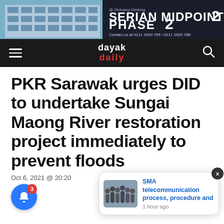[Figure (screenshot): Advertisement banner for Serian Midpoint Phase 2 property development showing building facade and contact numbers 0111 2020 795 / 0111 2020 788]
dayak daily
PKR Sarawak urges DID to undertake Sungai Maong River restoration project immediately to prevent floods
Oct 6, 2021 @ 20:20
[Figure (screenshot): Push notification popup showing a group photo thumbnail with link text 'SMA telecommunication process, procedure and' and timestamp '1 hour ago']